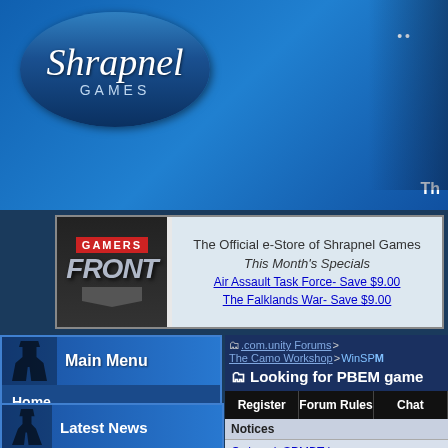[Figure (logo): Shrapnel Games logo - blue oval with italic cursive 'Shrapnel' text and 'GAMES' below]
[Figure (screenshot): Gamers Front store banner with logo and special offers]
The Official e-Store of Shrapnel Games
This Month's Specials
Air Assault Task Force- Save $9.00
The Falklands War- Save $9.00
Main Menu
Home
Our Games
Our Store
News
Customer Support
.com.unity Forums > The Camo Workshop > WinSP...
Looking for PBEM game
Register    Forum Rules    Chat
Notices
Order winSPMBT here. Do you own this game? Write a review and...
Latest News
We've Got Your Six! The 2022 winSPWW2 and winSPMBT Upgrade Patches are In!
May 24th, 2015, 05:16 AM